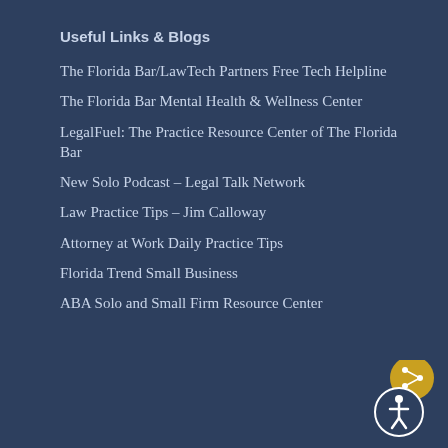Useful Links & Blogs
The Florida Bar/LawTech Partners Free Tech Helpline
The Florida Bar Mental Health & Wellness Center
LegalFuel: The Practice Resource Center of The Florida Bar
New Solo Podcast – Legal Talk Network
Law Practice Tips – Jim Calloway
Attorney at Work Daily Practice Tips
Florida Trend Small Business
ABA Solo and Small Firm Resource Center